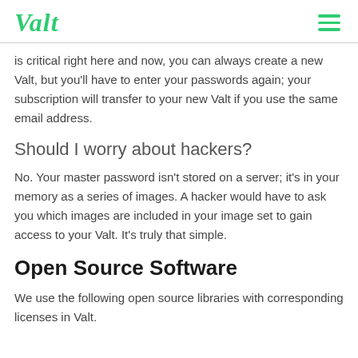Valt
is critical right here and now, you can always create a new Valt, but you'll have to enter your passwords again; your subscription will transfer to your new Valt if you use the same email address.
Should I worry about hackers?
No. Your master password isn't stored on a server; it's in your memory as a series of images. A hacker would have to ask you which images are included in your image set to gain access to your Valt. It's truly that simple.
Open Source Software
We use the following open source libraries with corresponding licenses in Valt.